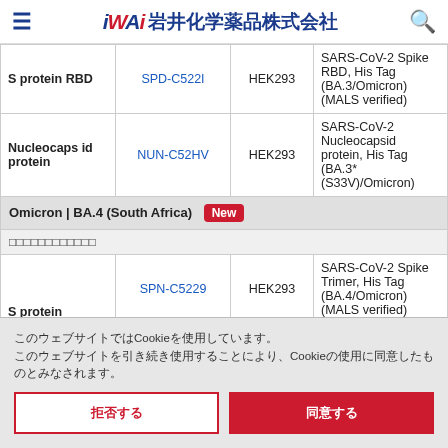岩井化学薬品株式会社
| Protein | Product | Expression | Description |
| --- | --- | --- | --- |
| S protein RBD | SPD-C522I | HEK293 | SARS-CoV-2 Spike RBD, His Tag (BA.3/Omicron) (MALS verified) |
| Nucleocapsid protein | NUN-C52HV | HEK293 | SARS-CoV-2 Nucleocapsid protein, His Tag (BA.3* (S33V)/Omicron) |
| Omicron | BA.4 (South Africa) [New] |  |  |  |
| [subheader] |  |  |  |
| S protein | SPN-C5229 | HEK293 | SARS-CoV-2 Spike Trimer, His Tag (BA.4/Omicron) (MALS verified) |
|  | SPN-C82ET | [Japanese] | Biotinylated SARS-CoV-2 Spike Trimer, His Avitag™ (BA.4/Omicron) |
| S1 protein | S1N-C52EW | HEK293 | SARS-CoV-2 Spike S1, His Tag (BA.4 & BA.5/Omicron), |
| S protein RBD | SPD-C82EW | HEK293 | (BA.4 & BA.5/Omicron) |
このウェブサイトではCookieを使用しています。このウェブサイトを引き続き使用することにより、Cookieの使用に同意したものとみなされます。
拒否する
同意する